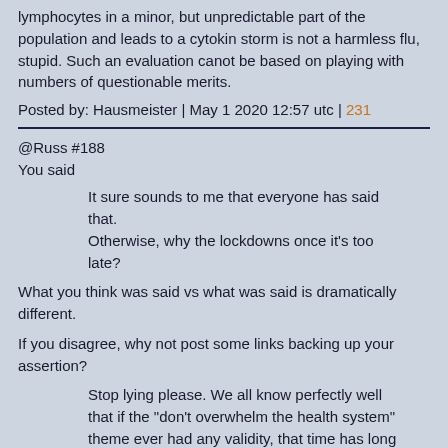lymphocytes in a minor, but unpredictable part of the population and leads to a cytokin storm is not a harmless flu, stupid. Such an evaluation canot be based on playing with numbers of questionable merits.
Posted by: Hausmeister | May 1 2020 12:57 utc | 231
@Russ #188
You said
It sure sounds to me that everyone has said that. Otherwise, why the lockdowns once it's too late?
What you think was said vs what was said is dramatically different.
If you disagree, why not post some links backing up your assertion?
Stop lying please. We all know perfectly well that if the "don't overwhelm the health system" theme ever had any validity, that time has long past since the hospitals now are near empty.
Wow, this one's a doozy even for you.
Let's start with:
1) The lockdowns do work; they do have a reduction effect